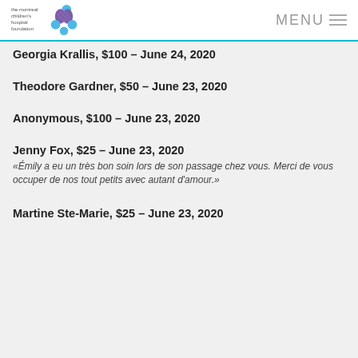the montreal children's hospital foundation — MENU
Georgia Krallis, $100 – June 24, 2020
Theodore Gardner, $50 – June 23, 2020
Anonymous, $100 – June 23, 2020
Jenny Fox, $25 – June 23, 2020
«Émily a eu un très bon soin lors de son passage chez vous. Merci de vous occuper de nos tout petits avec autant d'amour.»
Martine Ste-Marie, $25 – June 23, 2020